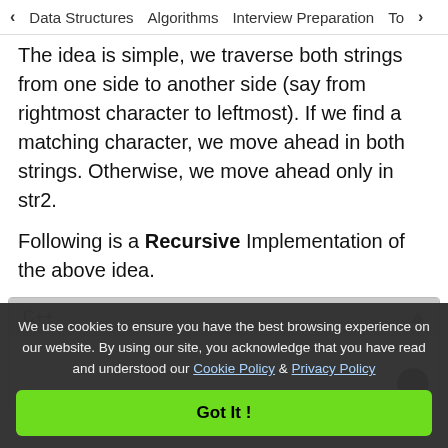< Data Structures   Algorithms   Interview Preparation   To>
The idea is simple, we traverse both strings from one side to another side (say from rightmost character to leftmost). If we find a matching character, we move ahead in both strings. Otherwise, we move ahead only in str2.
Following is a Recursive Implementation of the above idea.
[Figure (screenshot): Code block with C++ tab header and triangle collapse icon, with an empty white code body area visible]
We use cookies to ensure you have the best browsing experience on our website. By using our site, you acknowledge that you have read and understood our Cookie Policy & Privacy Policy
Got It !